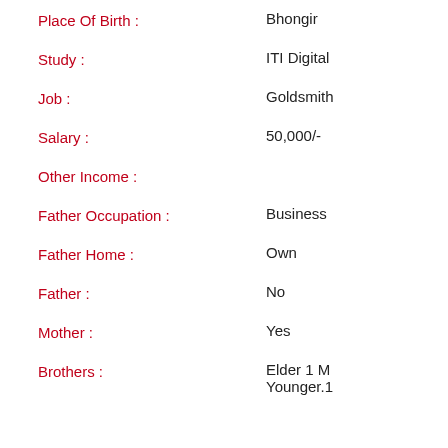Place Of Birth : Bhongir
Study : ITI Digital
Job : Goldsmith
Salary : 50,000/-
Other Income :
Father Occupation : Business
Father Home : Own
Father : No
Mother : Yes
Brothers : Elder 1 M Younger.1